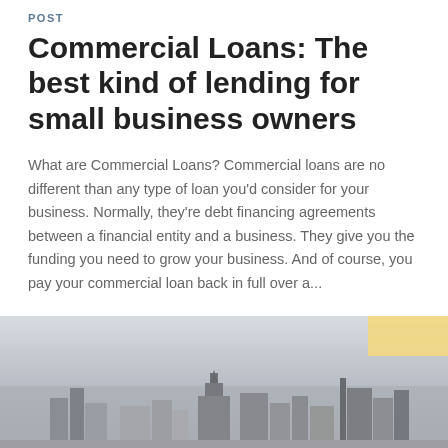POST
Commercial Loans: The best kind of lending for small business owners
What are Commercial Loans? Commercial loans are no different than any type of loan you'd consider for your business. Normally, they're debt financing agreements between a financial entity and a business. They give you the funding you need to grow your business. And of course, you pay your commercial loan back in full over a...
POSTED BY ADMIN | JULY 28, 2017
[Figure (photo): Black and white cityscape photo showing city skyline with tall buildings and cloudy sky]